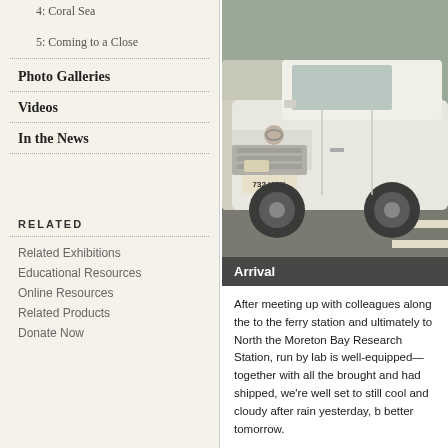4: Coral Sea
5: Coming to a Close
Photo Galleries
Videos
In the News
RELATED
Related Exhibitions
Educational Resources
Online Resources
Related Products
Donate Now
[Figure (photo): A white Toyota Land Cruiser utility vehicle with license plate 732 HOY parked in a lot, with another vehicle visible behind it. Caption reads 'Arrival'.]
After meeting up with colleagues along the to the ferry station and ultimately to North the Moreton Bay Research Station, run by lab is well-equipped—together with all the brought and had shipped, we're well set to still cool and cloudy after rain yesterday, b better tomorrow.
We're all assembled by mid afternoon and